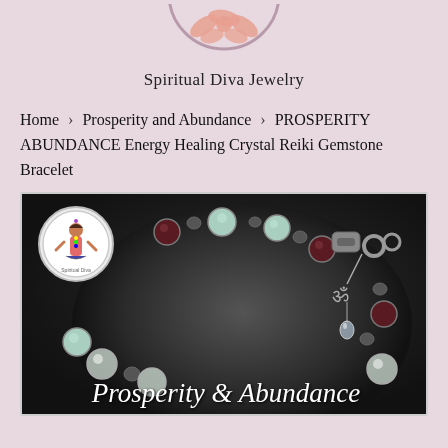[Figure (logo): Partial circular logo of Spiritual Diva Jewelry with decorative butterfly/star shape at top, pink/mauve background]
Spiritual Diva Jewelry
Home > Prosperity and Abundance > PROSPERITY ABUNDANCE Energy Healing Crystal Reiki Gemstone Bracelet
[Figure (photo): Close-up photo of a gemstone bracelet with mint green amazonite, dark garnet, clear quartz, and hematite beads on a dark reflective surface. A silver clasp with Om charm and crystal dangle is visible. Text overlay reads 'Prosperity & Abundance' in white script. A small circular Spiritual Diva logo appears in the top left corner.]